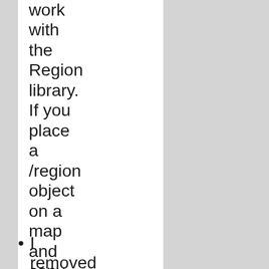work with the Region library. If you place a /region object on a map and copy the map. the copied turfs will be added to the region too.
I removed the use_wa verb